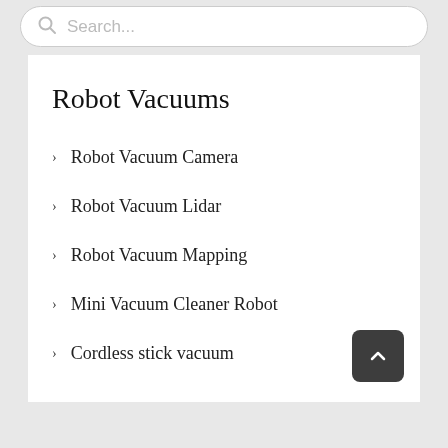[Figure (screenshot): Search bar with magnifying glass icon and placeholder text 'Search...']
Robot Vacuums
Robot Vacuum Camera
Robot Vacuum Lidar
Robot Vacuum Mapping
Mini Vacuum Cleaner Robot
Cordless stick vacuum